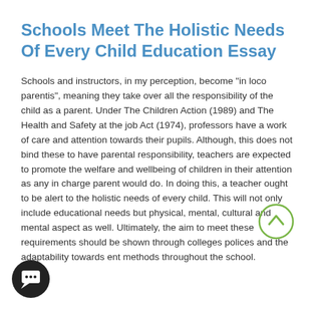Schools Meet The Holistic Needs Of Every Child Education Essay
Schools and instructors, in my perception, become "in loco parentis", meaning they take over all the responsibility of the child as a parent. Under The Children Action (1989) and The Health and Safety at the job Act (1974), professors have a work of care and attention towards their pupils. Although, this does not bind these to have parental responsibility, teachers are expected to promote the welfare and wellbeing of children in their attention as any in charge parent would do. In doing this, a teacher ought to be alert to the holistic needs of every child. This will not only include educational needs but physical, mental, cultural and mental aspect as well. Ultimately, the aim to meet these requirements should be shown through colleges polices and the adaptability towards ent methods throughout the school.